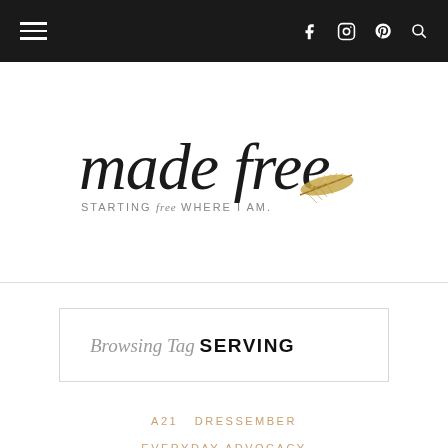Navigation bar with hamburger menu and social icons (Facebook, Instagram, Pinterest, Search)
[Figure (logo): made free blog logo — cursive black handwritten text 'made free' with subtitle 'STARTING free WHERE I AM.' and a gold glitter feather illustration]
Browsing Tag SERVING
A21  DRESSEMBER  EVERYDAY ADVOCACY  HUMAN TRAFFICKING